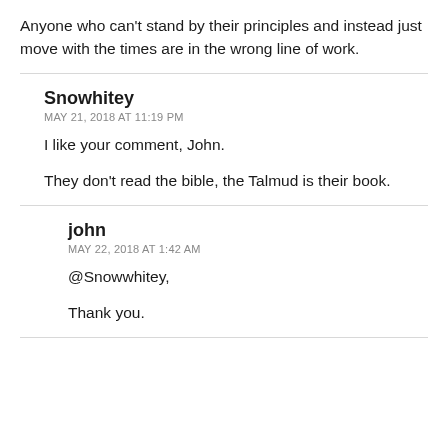Anyone who can’t stand by their principles and instead just move with the times are in the wrong line of work.
Snowhitey
MAY 21, 2018 AT 11:19 PM
I like your comment, John.
They don’t read the bible, the Talmud is their book.
john
MAY 22, 2018 AT 1:42 AM
@Snowwhitey,
Thank you.